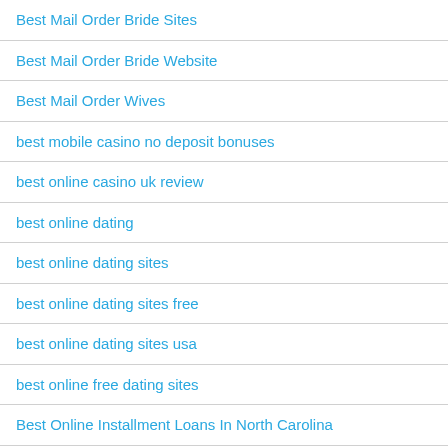Best Mail Order Bride Sites
Best Mail Order Bride Website
Best Mail Order Wives
best mobile casino no deposit bonuses
best online casino uk review
best online dating
best online dating sites
best online dating sites free
best online dating sites usa
best online free dating sites
Best Online Installment Loans In North Carolina
best online pokies real money